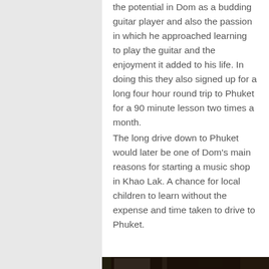the potential in Dom as a budding guitar player and also the passion in which he approached learning to play the guitar and the enjoyment it added to his life. In doing this they also signed up for a long four hour round trip to Phuket for a 90 minute lesson two times a month.
The long drive down to Phuket would later be one of Dom's main reasons for starting a music shop in Khao Lak. A chance for local children to learn without the expense and time taken to drive to Phuket.
[Figure (photo): Dark interior photo of what appears to be a music shop or room with wooden furniture, a yellow sticky note visible in upper right, and dark shelving or cabinet in the foreground.]